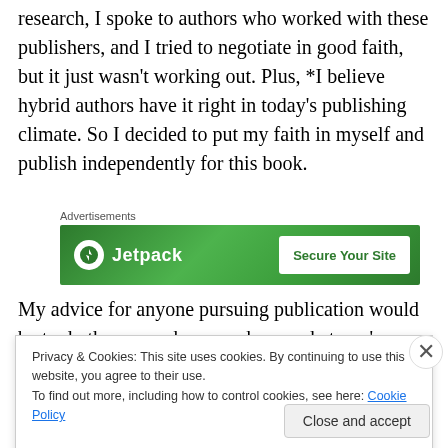research, I spoke to authors who worked with these publishers, and I tried to negotiate in good faith, but it just wasn't working out. Plus, *I believe hybrid authors have it right in today's publishing climate. So I decided to put my faith in myself and publish independently for this book.
[Figure (other): Jetpack advertisement banner: green background with Jetpack logo and 'Secure Your Site' button]
My advice for anyone pursuing publication would be to do the research so you know what you're getting into, and
Privacy & Cookies: This site uses cookies. By continuing to use this website, you agree to their use.
To find out more, including how to control cookies, see here: Cookie Policy